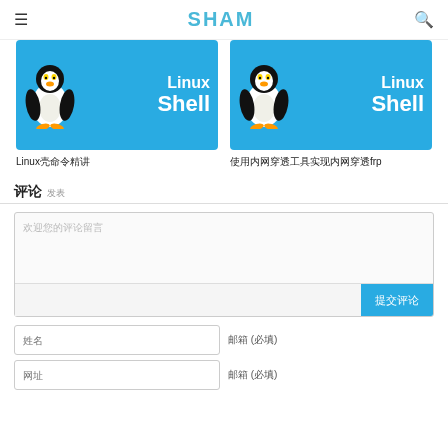≡  SHAM  🔍
[Figure (illustration): Linux Shell promotional image with Tux penguin mascot on blue background, left card]
Linux壳命令精讲
[Figure (illustration): Linux Shell promotional image with Tux penguin mascot on blue background, right card]
使用内网穿透工具实现内网穿透frp
评论  发表
欢迎您的评论留言
提交评论
姓名
邮箱 (必填)
网址
邮箱 (必填)